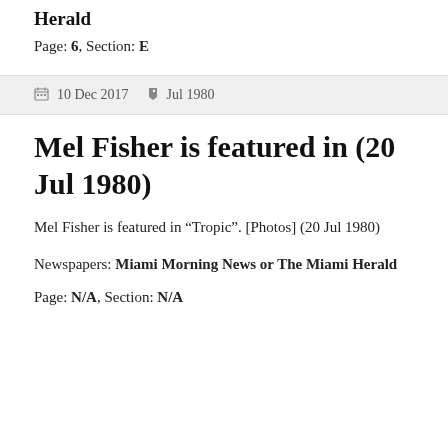Herald
Page: 6, Section: E
10 Dec 2017   Jul 1980
Mel Fisher is featured in (20 Jul 1980)
Mel Fisher is featured in “Tropic”. [Photos] (20 Jul 1980)
Newspapers: Miami Morning News or The Miami Herald
Page: N/A, Section: N/A